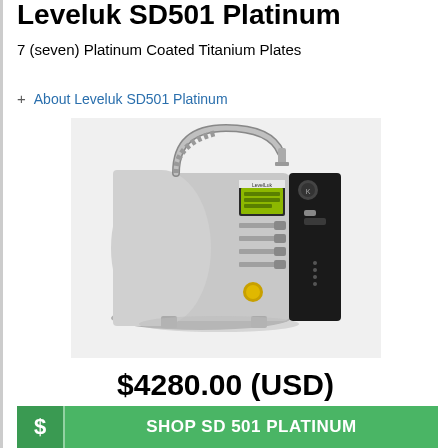Leveluk SD501 Platinum
7 (seven) Platinum Coated Titanium Plates
+ About Leveluk SD501 Platinum
[Figure (photo): Product photo of Leveluk SD501 Platinum water ionizer machine with flexible metal faucet, silver metallic body, LCD display screen, and control buttons]
$4280.00 (USD)
SHOP SD 501 PLATINUM